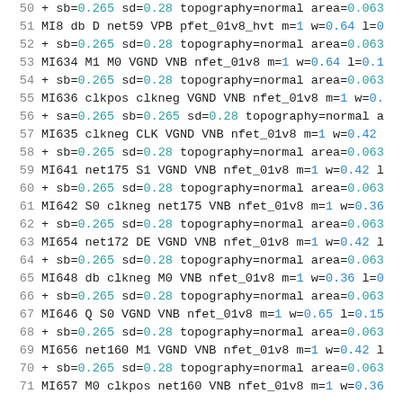50  + sb=0.265 sd=0.28 topography=normal area=0.063
51  MI8 db D net59 VPB pfet_01v8_hvt m=1 w=0.64 l=0
52  + sb=0.265 sd=0.28 topography=normal area=0.063
53  MI634 M1 M0 VGND VNB nfet_01v8 m=1 w=0.64 l=0.1
54  + sb=0.265 sd=0.28 topography=normal area=0.063
55  MI636 clkpos clkneg VGND VNB nfet_01v8 m=1 w=0.4
56  + sa=0.265 sb=0.265 sd=0.28 topography=normal a
57  MI635 clkneg CLK VGND VNB nfet_01v8 m=1 w=0.42
58  + sb=0.265 sd=0.28 topography=normal area=0.063
59  MI641 net175 S1 VGND VNB nfet_01v8 m=1 w=0.42 l
60  + sb=0.265 sd=0.28 topography=normal area=0.063
61  MI642 S0 clkneg net175 VNB nfet_01v8 m=1 w=0.36
62  + sb=0.265 sd=0.28 topography=normal area=0.063
63  MI654 net172 DE VGND VNB nfet_01v8 m=1 w=0.42 l
64  + sb=0.265 sd=0.28 topography=normal area=0.063
65  MI648 db clkneg M0 VNB nfet_01v8 m=1 w=0.36 l=0
66  + sb=0.265 sd=0.28 topography=normal area=0.063
67  MI646 Q S0 VGND VNB nfet_01v8 m=1 w=0.65 l=0.15
68  + sb=0.265 sd=0.28 topography=normal area=0.063
69  MI656 net160 M1 VGND VNB nfet_01v8 m=1 w=0.42 l
70  + sb=0.265 sd=0.28 topography=normal area=0.063
71  MI657 M0 clkpos net160 VNB nfet_01v8 m=1 w=0.36